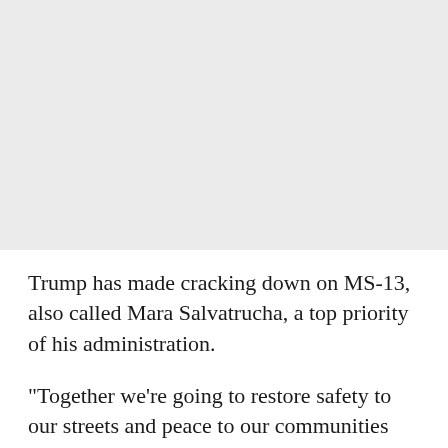[Figure (photo): Placeholder image area, light gray background, no visible content]
Trump has made cracking down on MS-13, also called Mara Salvatrucha, a top priority of his administration.
"Together we're going to restore safety to our streets and peace to our communities and we're going to